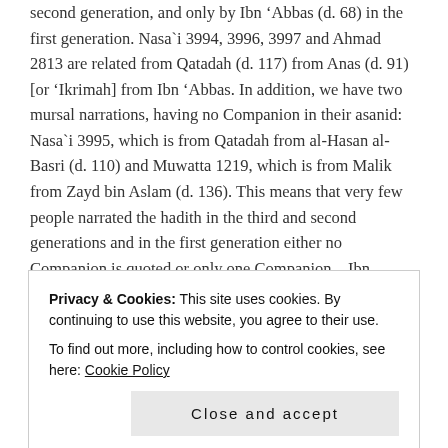second generation, and only by Ibn 'Abbas (d. 68) in the first generation. Nasa`i 3994, 3996, 3997 and Ahmad 2813 are related from Qatadah (d. 117) from Anas (d. 91) [or 'Ikrimah] from Ibn 'Abbas. In addition, we have two mursal narrations, having no Companion in their asanid: Nasa`i 3995, which is from Qatadah from al-Hasan al-Basri (d. 110) and Muwatta 1219, which is from Malik from Zayd bin Aslam (d. 136). This means that very few people narrated the hadith in the third and second generations and in the first generation either no Companion is quoted or only one Companion – Ibn 'Abbas – is quoted.
Privacy & Cookies: This site uses cookies. By continuing to use this website, you agree to their use.
To find out more, including how to control cookies, see here: Cookie Policy
transmit it to the future generations.